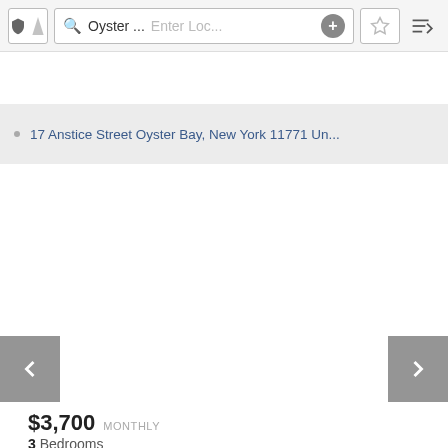[Figure (screenshot): App navigation bar with shield/location icon, search box showing 'Oyster ...', placeholder 'Enter Loc...', plus button, star/favorite icon, and sort icon]
17 Anstice Street Oyster Bay, New York 11771 Un...
[Figure (photo): Property photo area with left and right navigation arrows and '1 of 17' page counter badge]
$3,700 MONTHLY
3 Bedrooms
2 Full Baths